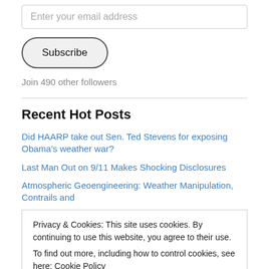Enter your email address
Subscribe
Join 490 other followers
Recent Hot Posts
Did HAARP take out Sen. Ted Stevens for exposing Obama's weather war?
Last Man Out on 9/11 Makes Shocking Disclosures
Atmospheric Geoengineering: Weather Manipulation, Contrails and
Privacy & Cookies: This site uses cookies. By continuing to use this website, you agree to their use. To find out more, including how to control cookies, see here: Cookie Policy
Close and accept
Of/By/4: The Belly Belatedly Understood